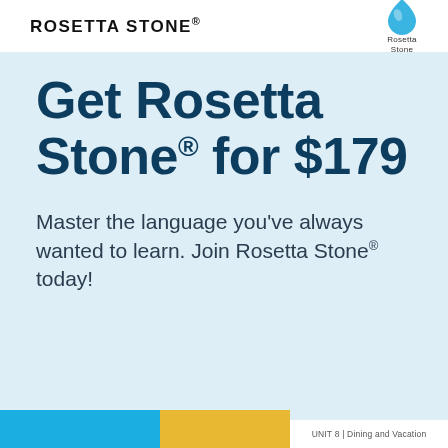ROSETTA STONE®
[Figure (logo): Rosetta Stone logo with blue droplet/leaf icon and text 'Rosetta Stone']
Get Rosetta Stone® for $179
Master the language you've always wanted to learn. Join Rosetta Stone® today!
UNIT 8 | Dining and Vacation